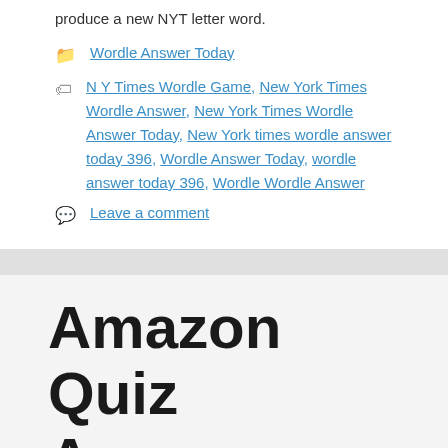produce a new NYT letter word.
Categories: Wordle Answer Today
Tags: N Y Times Wordle Game, New York Times Wordle Answer, New York Times Wordle Answer Today, New York times wordle answer today 396, Wordle Answer Today, wordle answer today 396, Wordle Wordle Answer
Leave a comment
Amazon Quiz Answers Today 20th July 2022: Win